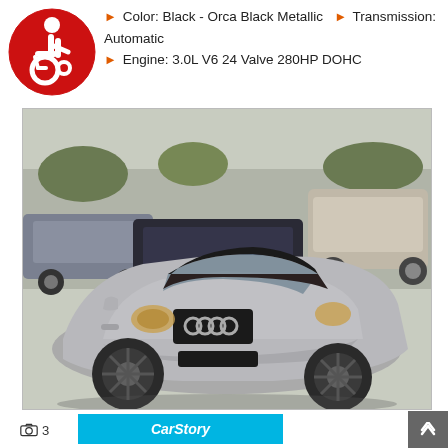[Figure (logo): International Symbol of Access (wheelchair accessibility icon) — red circle with white wheelchair user symbol]
Color: Black - Orca Black Metallic  ▶  Transmission: Automatic
▶ Engine: 3.0L V6 24 Valve 280HP DOHC
[Figure (photo): Silver Audi TT convertible with black soft top parked in a car lot, front 3/4 view, surrounded by other vehicles]
📷 3   🎥 0   🖐 0
[Figure (logo): CarStory brand logo in cyan/blue bar]
CarStory